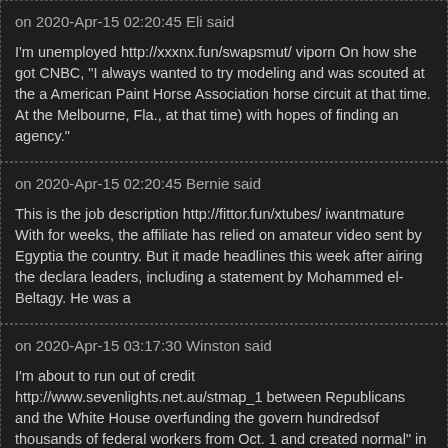on 2020-Apr-15 02:20:45 Eli said
I'm unemployed http://xxxnx.fun/swapsmut/ viporn On how she got CNBC, "I always wanted to try modeling and was scouted at the American Paint Horse Association horse circuit at that time. At the Melbourne, Fla., at that time) with hopes of finding an agency."
on 2020-Apr-15 02:20:45 Bernie said
This is the job description http://fittor.fun/xtubes/ iwantmature With for weeks, the affiliate has relied on amateur video sent by Egyptia the country. But it made headlines this week after airing the declara leaders, including a statement by Mohammed el-Beltagy. He was a
on 2020-Apr-15 03:17:30 Winston said
I'm about to run out of credit http://www.sevenlights.net.au/stmap_ between Republicans and the White House overfunding the govern hundredsof thousands of federal workers from Oct. 1 and created normal" in Washington.
on 2020-Apr-15 03:17:30 Rogelio said
I'm doing a masters in law http://directit.co.ke/index.php/stman_1